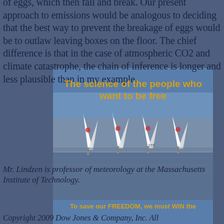of eggs, which then fall and break. Our present approach to emissions would be analogous to deciding that the best way to prevent the breakage of eggs would be to outlaw leaving boxes on the floor. The chief difference is that in the case of atmospheric CO2 and climate catastrophe, the chain of inference is longer and less plausible than in my example.
[Figure (illustration): Overlay text box with title 'The science of the people who want to be free' in gold/yellow bold font on a blue semi-transparent background]
[Figure (photo): Photograph of multiple sailboats with white sails on water, overlaid on the page text]
Mr. Lindzen is professor of meteorology at the Massachusetts Institute of Technology.
[Figure (illustration): Blue banner at bottom with gold text: 'To save our FREEDOM, we must WIN the']
Copyright 2009 Dow Jones & Company, Inc. All